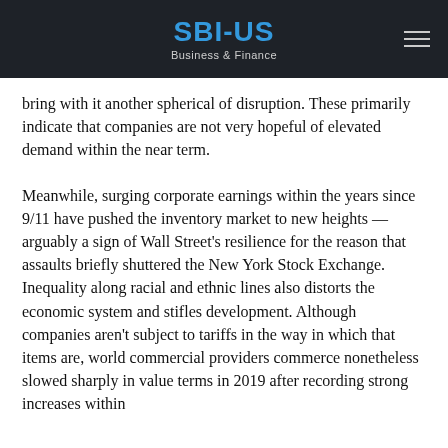SBI-US
Business & Finance
bring with it another spherical of disruption. These primarily indicate that companies are not very hopeful of elevated demand within the near term.
Meanwhile, surging corporate earnings within the years since 9/11 have pushed the inventory market to new heights — arguably a sign of Wall Street's resilience for the reason that assaults briefly shuttered the New York Stock Exchange. Inequality along racial and ethnic lines also distorts the economic system and stifles development. Although companies aren't subject to tariffs in the way in which that items are, world commercial providers commerce nonetheless slowed sharply in value terms in 2019 after recording strong increases within